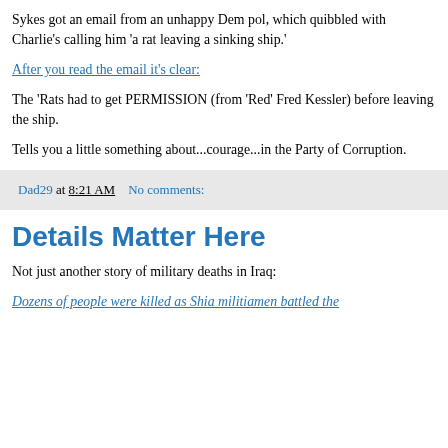Sykes got an email from an unhappy Dem pol, which quibbled with Charlie's calling him 'a rat leaving a sinking ship.'
After you read the email it's clear:
The 'Rats had to get PERMISSION (from 'Red' Fred Kessler) before leaving the ship.
Tells you a little something about...courage...in the Party of Corruption.
Dad29 at 8:21 AM    No comments:
Details Matter Here
Not just another story of military deaths in Iraq:
Dozens of people were killed as Shia militiamen battled the